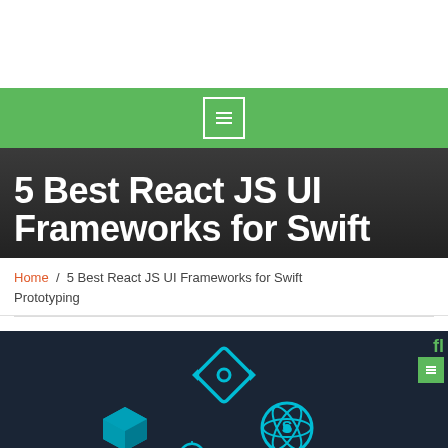[Figure (screenshot): Green navigation bar with a white bordered menu/hamburger icon box in the center]
5 Best React JS UI Frameworks for Swift
Home / 5 Best React JS UI Frameworks for Swift Prototyping
[Figure (illustration): Dark blue background with teal/cyan React and framework logos: a diamond-shaped logo at top center, a cube logo bottom left, a React (Semantic UI) logo bottom right, and a partial logo at bottom center. Top right corner shows a green letter 'fl' and a green menu button.]